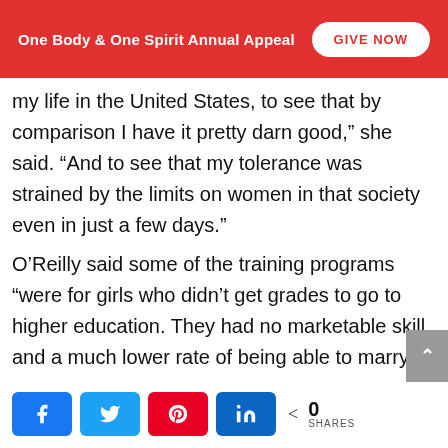One Body & One Spirit Annual Appeal
my life in the United States, to see that by comparison I have it pretty darn good,” she said. “And to see that my tolerance was strained by the limits on women in that society even in just a few days.”

O’Reilly said some of the training programs “were for girls who didn’t get grades to go to higher education. They had no marketable skill and a much lower rate of being able to marry well. Otherwise they would probably be without